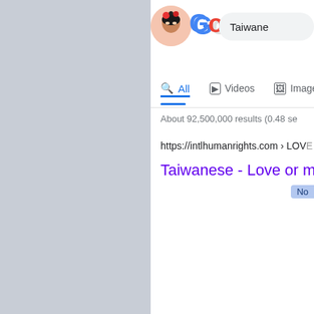[Figure (screenshot): Partial Google search results page screenshot showing Google Doodle logo, search tabs (All, Videos, Images), result count 'About 92,500,000 results (0.48 se...', a URL from intlhumanrights.com, and a purple link titled 'Taiwanese - Love or mo...' with a highlighted 'No' badge. Background is gray.]